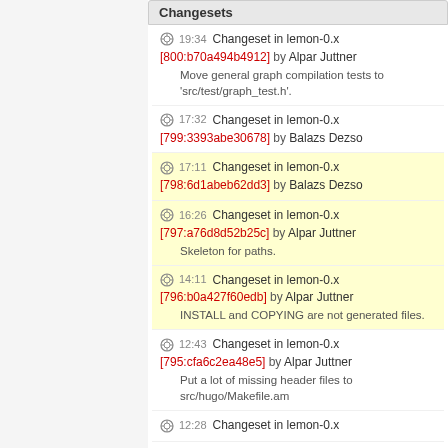19:34 Changeset in lemon-0.x [800:b70a494b4912] by Alpar Juttner — Move general graph compilation tests to 'src/test/graph_test.h'.
17:32 Changeset in lemon-0.x [799:3393abe30678] by Balazs Dezso
17:11 Changeset in lemon-0.x [798:6d1abeb62dd3] by Balazs Dezso
16:26 Changeset in lemon-0.x [797:a76d8d52b25c] by Alpar Juttner — Skeleton for paths.
14:11 Changeset in lemon-0.x [796:b0a427f60edb] by Alpar Juttner — INSTALL and COPYING are not generated files.
12:43 Changeset in lemon-0.x [795:cfa6c2ea48e5] by Alpar Juttner — Put a lot of missing header files to src/hugo/Makefile.am
12:28 Changeset in lemon-0.x